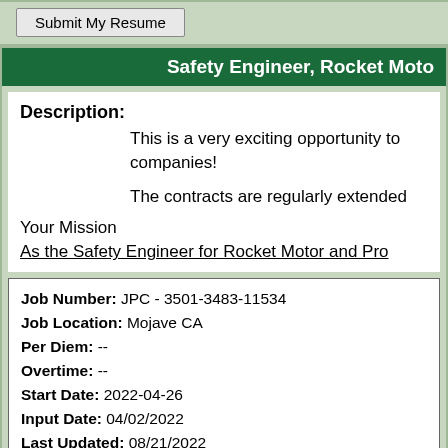Submit My Resume
Safety Engineer, Rocket Moto
Description: This is a very exciting opportunity to companies! The contracts are regularly extended Your Mission As the Safety Engineer for Rocket Motor and Pro
| Job Number: | JPC - 3501-3483-11534 |
| Job Location: | Mojave CA |
| Per Diem: | -- |
| Overtime: | -- |
| Start Date: | 2022-04-26 |
| Input Date: | 04/02/2022 |
| Last Updated: | 08/21/2022 |
Submit My Resume